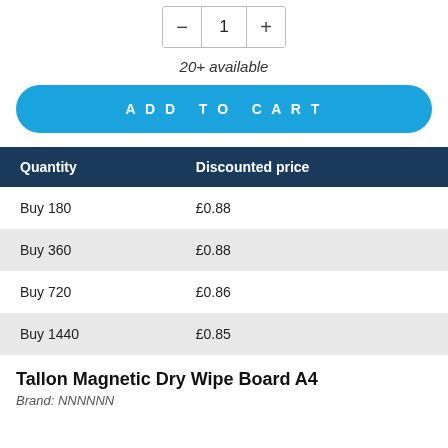[Figure (other): Quantity stepper control with minus button, value of 1, and plus button]
20+ available
ADD TO CART
| Quantity | Discounted price |
| --- | --- |
| Buy 180 | £0.88 |
| Buy 360 | £0.88 |
| Buy 720 | £0.86 |
| Buy 1440 | £0.85 |
Tallon Magnetic Dry Wipe Board A4
Brand: NNNNNN